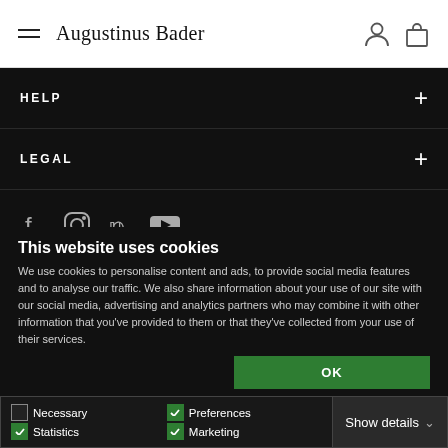Augustinus Bader
HELP
LEGAL
[Figure (infographic): Social media icons: Facebook, Instagram, Pinterest, YouTube]
This website uses cookies
We use cookies to personalise content and ads, to provide social media features and to analyse our traffic. We also share information about your use of our site with our social media, advertising and analytics partners who may combine it with other information that you've provided to them or that they've collected from your use of their services.
OK
Necessary  Preferences  Statistics  Marketing  Show details